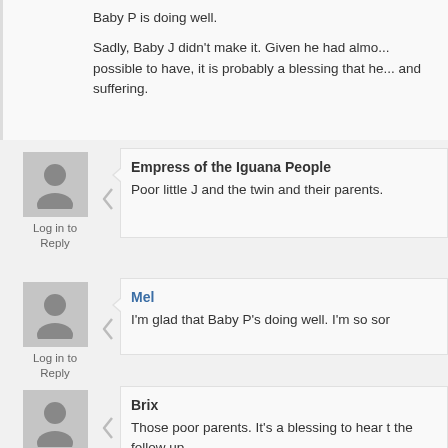Baby P is doing well.

Sadly, Baby J didn't make it. Given he had almost no chance possible to have, it is probably a blessing that he is free from pain and suffering.
Log in to Reply
Empress of the Iguana People
Poor little J and the twin and their parents.
Log in to Reply
Mel
I'm glad that Baby P's doing well. I'm so sor
Log in to Reply
Brix
Those poor parents. It's a blessing to hear t the follow up.
Christy